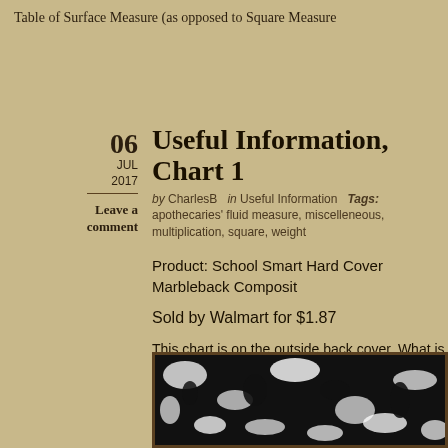Table of Surface Measure (as opposed to Square Measure
Useful Information, Chart 1
by CharlesB   in Useful Information   Tags: apothecaries' fluid measure, miscelleneous, multiplication, square, weight
Leave a comment
Product: School Smart Hard Cover Marbleback Composit
Sold by Walmart for $1.87
This chart is on the outside back cover. What is interestin Useful Information chart on the inside back cover, just in guess that about 90% of the information is the same in bo differences. You may notice that there are no metric-to-m conversion tables.
[Figure (photo): Black and white marbleback composition notebook cover pattern]